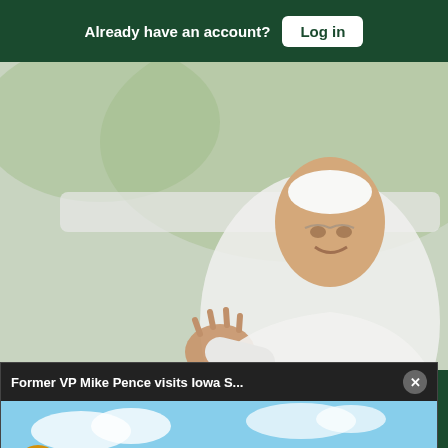Already have an account? Log in
[Figure (photo): Background photo of Pope Francis dressed in white, waving from what appears to be a vehicle, with a blurred green/outdoor background]
...ervices at the Vatican
[Figure (screenshot): Video popup overlay showing 'Former VP Mike Pence visits Iowa S...' with a thumbnail of a brick stadium building with flags, a yellow mute button, and a close button]
Sections  NY Edition  Philly  Games  Advertise  Sign Up